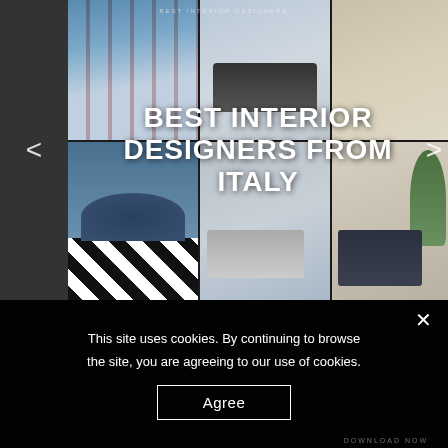[Figure (photo): A collage of interior design photos showing luxury furniture, modern living spaces, and designer rooms. Overlaid with large white bold text reading 'BEST INTERIOR DESIGNERS FROM ITALY'. Navigation arrows on left and right sides.]
This site uses cookies. By continuing to browse the site, you are agreeing to our use of cookies.
Agree